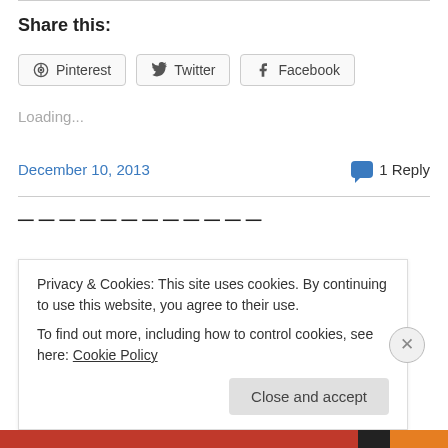Share this:
[Figure (other): Social share buttons: Pinterest, Twitter, Facebook]
Loading...
December 10, 2013  💬 1 Reply
Privacy & Cookies: This site uses cookies. By continuing to use this website, you agree to their use. To find out more, including how to control cookies, see here: Cookie Policy
Close and accept